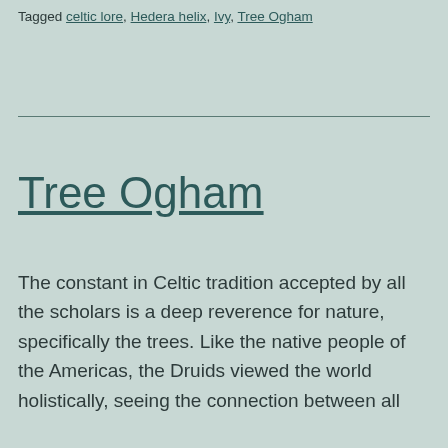Tagged celtic lore, Hedera helix, Ivy, Tree Ogham
Tree Ogham
The constant in Celtic tradition accepted by all the scholars is a deep reverence for nature, specifically the trees. Like the native people of the Americas, the Druids viewed the world holistically, seeing the connection between all things. They were animistic in view, treating all of